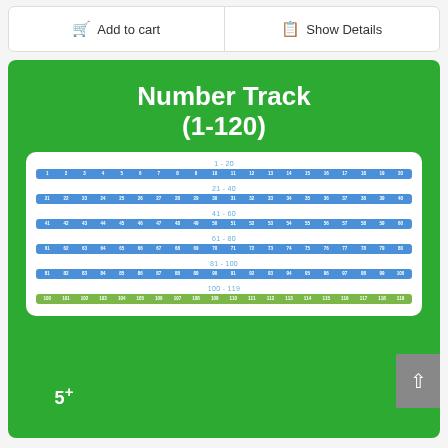Add to cart
Show Details
[Figure (illustration): Number Track (1-120) educational product card on green background showing number tracks for ranges 1-20, 21-40, 41-60, 61-80, 81-100, and 100-119 with blue and green number cells, a 5+ age badge, and a scroll-up button]